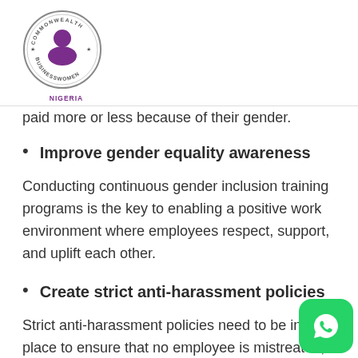[Figure (logo): Commonwealth Businesswomen Nigeria circular logo with a woman silhouette in purple, text around the border reading COMMONWEALTH BUSINESSWOMEN, and NIGERIA below in purple text]
paid more or less because of their gender.
Improve gender equality awareness
Conducting continuous gender inclusion training programs is the key to enabling a positive work environment where employees respect, support, and uplift each other.
Create strict anti-harassment policies
Strict anti-harassment policies need to be in place to ensure that no employee is mistreated, disrespected, exploited, harassed, or discriminated against in your